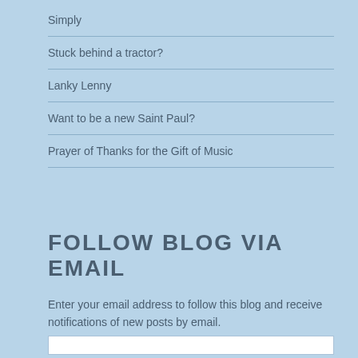Simply
Stuck behind a tractor?
Lanky Lenny
Want to be a new Saint Paul?
Prayer of Thanks for the Gift of Music
FOLLOW BLOG VIA EMAIL
Enter your email address to follow this blog and receive notifications of new posts by email.